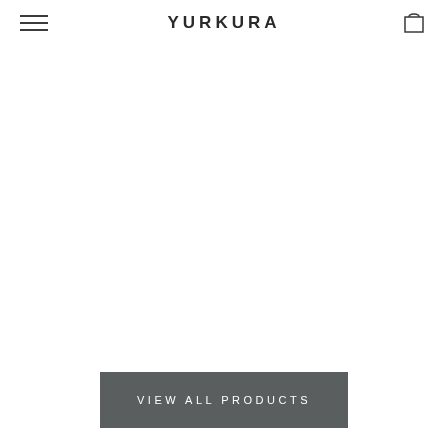YURKURA
[Figure (other): Large white empty product showcase area]
VIEW ALL PRODUCTS